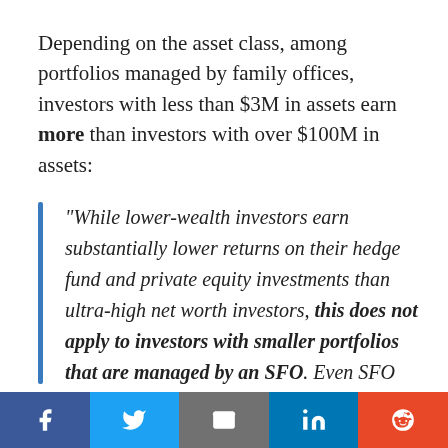Depending on the asset class, among portfolios managed by family offices, investors with less than $3M in assets earn more than investors with over $100M in assets:
"While lower-wealth investors earn substantially lower returns on their hedge fund and private equity investments than ultra-high net worth investors, this does not apply to investors with smaller portfolios that are managed by an SFO. Even SFO investors with less than three million, or 3-10 million earn roughly the same return as those
Social share bar: Facebook, Twitter, Email, LinkedIn, Reddit